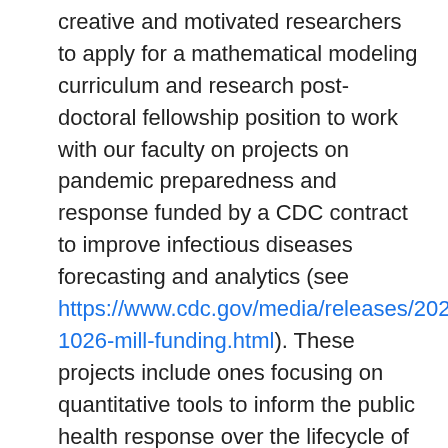creative and motivated researchers to apply for a mathematical modeling curriculum and research post-doctoral fellowship position to work with our faculty on projects on pandemic preparedness and response funded by a CDC contract to improve infectious diseases forecasting and analytics (see https://www.cdc.gov/media/releases/2021/p-1026-mill-funding.html). These projects include ones focusing on quantitative tools to inform the public health response over the lifecycle of pandemics; assessment of model and forecast communications; mathematical models that relate within-host evolution and dynamics to population-level epidemiology, evolution, and emergence; assessment of drivers of inequity in surveillance, modeling, and disease burden with a focus on identifying gaps and how to address them; assessing the impact of intervention strategies; and workforce development for mathematical modeling.